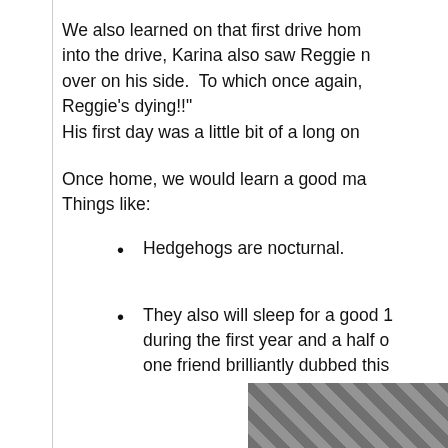We also learned on that first drive hom into the drive, Karina also saw Reggie n over on his side.  To which once again, Reggie's dying!!
His first day was a little bit of a long on
Once home, we would learn a good ma Things like:
Hedgehogs are nocturnal.
They also will sleep for a good 1 during the first year and a half o one friend brilliantly dubbed this
[Figure (photo): Partial photo visible at bottom right corner of page, dark grayscale image]